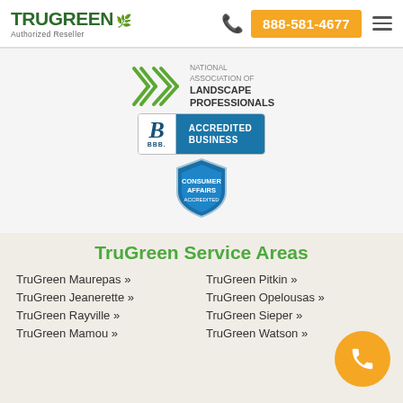TruGreen Authorized Reseller | 888-581-4677
[Figure (logo): National Association of Landscape Professionals logo]
[Figure (logo): BBB Accredited Business badge]
[Figure (logo): Consumer Affairs Accredited shield badge]
TruGreen Service Areas
TruGreen Maurepas »
TruGreen Pitkin »
TruGreen Jeanerette »
TruGreen Opelousas »
TruGreen Rayville »
TruGreen Sieper »
TruGreen Mamou »
TruGreen Watson »